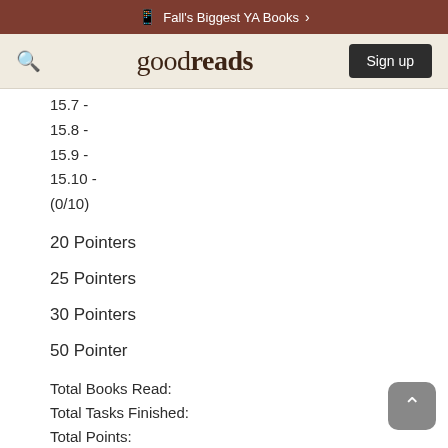Fall's Biggest YA Books >
goodreads Sign up
15.7 -
15.8 -
15.9 -
15.10 -
(0/10)
20 Pointers
25 Pointers
30 Pointers
50 Pointer
Total Books Read:
Total Tasks Finished:
Total Points:
GRA:
BB: